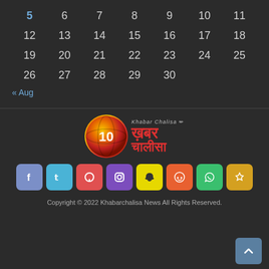| 5 | 6 | 7 | 8 | 9 | 10 | 11 |
| 12 | 13 | 14 | 15 | 16 | 17 | 18 |
| 19 | 20 | 21 | 22 | 23 | 24 | 25 |
| 26 | 27 | 28 | 29 | 30 |  |  |
« Aug
[Figure (logo): Khabar Chalisa news logo with orange/red globe and Hindi text]
[Figure (infographic): Social media icon buttons: Facebook, Twitter, Pinterest, Instagram, Snapchat, Reddit, WhatsApp, RSS]
Copyright © 2022 Khabarchalisa News All Rights Reserved.